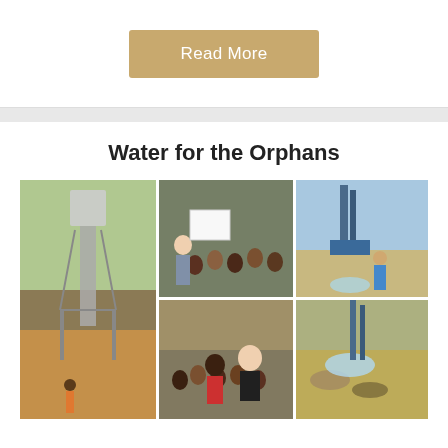Read More
Water for the Orphans
[Figure (photo): A collage of four photos: (1) A water tower structure among trees with a person standing below; (2) A young man presenting to a large group of seated people indoors; (3) A drilling rig machine operating at a site with a worker; (4) A smiling young man with a crowd of people outside a building.]
We have our first phase in the school project for the 35 orphans at the Jabez Orphanage now. We need your help. My name is Huni Hunford and I have been